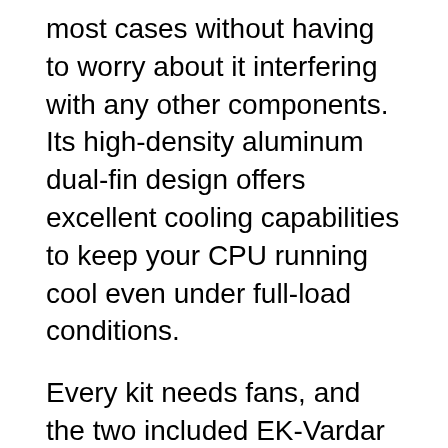most cases without having to worry about it interfering with any other components. Its high-density aluminum dual-fin design offers excellent cooling capabilities to keep your CPU running cool even under full-load conditions.
Every kit needs fans, and the two included EK-Vardar F3-120 fans are High-static pressure radiator fans with no bells or whistles. They are designed for radiator use with silence over aesthetics. The fans are well built and very quiet on the radiator and overall do an outstanding job.
EKWB included their EK-XRES 140 Revo D5 PWM pump and reservoir combo. The pump is extremely quiet, even at 100% power, and